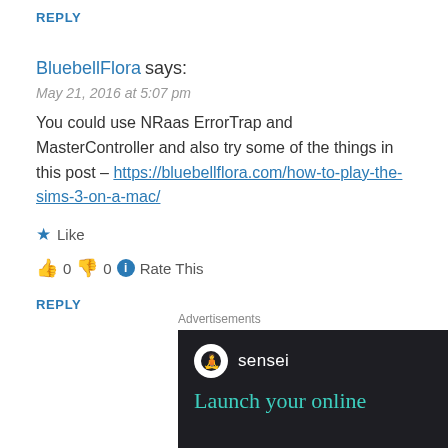REPLY
BluebellFlora says:
May 21, 2016 at 5:07 pm
You could use NRaas ErrorTrap and MasterController and also try some of the things in this post – https://bluebellflora.com/how-to-play-the-sims-3-on-a-mac/
★ Like
👍 0 👎 0 ℹ Rate This
REPLY
Advertisements
[Figure (screenshot): Advertisement banner for Sensei with dark background showing logo and text 'Launch your online']